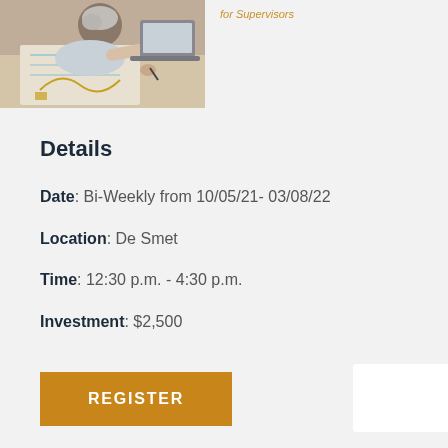[Figure (photo): Photo of a person with grey hair working on documents/blueprints at a desk, viewed from above]
Details
Date: Bi-Weekly from 10/05/21- 03/08/22
Location: De Smet
Time: 12:30 p.m. - 4:30 p.m.
Investment: $2,500